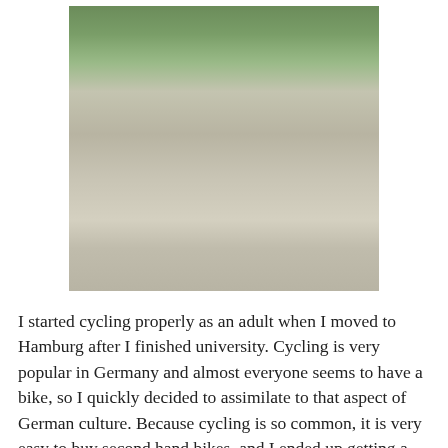[Figure (photo): A woman with dark curly hair wearing a dark jacket and skirt riding a light-colored bicycle on a cobblestone street. Bicycles are parked along a tree-lined path on the left, and a red brick building is visible in the background on the right.]
I started cycling properly as an adult when I moved to Hamburg after I finished university. Cycling is very popular in Germany and almost everyone seems to have a bike, so I quickly decided to assimilate to that aspect of German culture. Because cycling is so common, it is very easy to buy second hand bikes, and I ended up getting a 25-year old bike from a flea